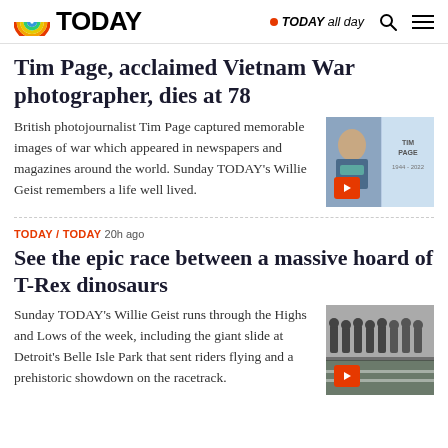TODAY  • TODAY all day
Tim Page, acclaimed Vietnam War photographer, dies at 78
British photojournalist Tim Page captured memorable images of war which appeared in newspapers and magazines around the world. Sunday TODAY's Willie Geist remembers a life well lived.
[Figure (photo): Thumbnail video of Tim Page with overlay play button and text 'TIM PAGE 1944-2022']
TODAY / TODAY  20h ago
See the epic race between a massive hoard of T-Rex dinosaurs
Sunday TODAY's Willie Geist runs through the Highs and Lows of the week, including the giant slide at Detroit's Belle Isle Park that sent riders flying and a prehistoric showdown on the racetrack.
[Figure (photo): Thumbnail video of T-Rex dinosaur race with overlay play button]